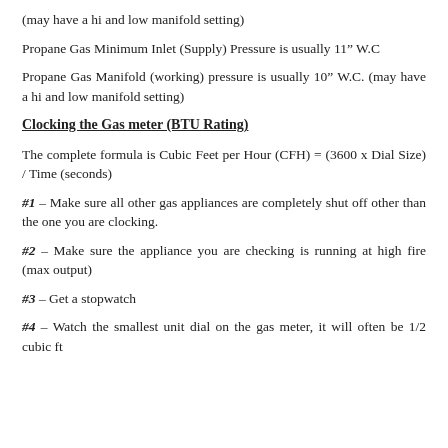(may have a hi and low manifold setting)
Propane Gas Minimum Inlet (Supply) Pressure is usually 11" W.C
Propane Gas Manifold (working) pressure is usually 10" W.C. (may have a hi and low manifold setting)
Clocking the Gas meter (BTU Rating)
The complete formula is Cubic Feet per Hour (CFH) = (3600 x Dial Size) / Time (seconds)
#1 – Make sure all other gas appliances are completely shut off other than the one you are clocking.
#2 – Make sure the appliance you are checking is running at high fire (max output)
#3 – Get a stopwatch
#4 – Watch the smallest unit dial on the gas meter, it will often be 1/2 cubic ft